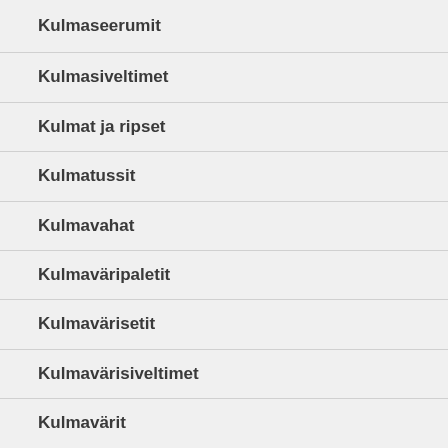Kulmaseerumit
Kulmasiveltimet
Kulmat ja ripset
Kulmatussit
Kulmavahat
Kulmaväripaletit
Kulmavärisetit
Kulmavärisiveltimet
Kulmavärit
Kulma...